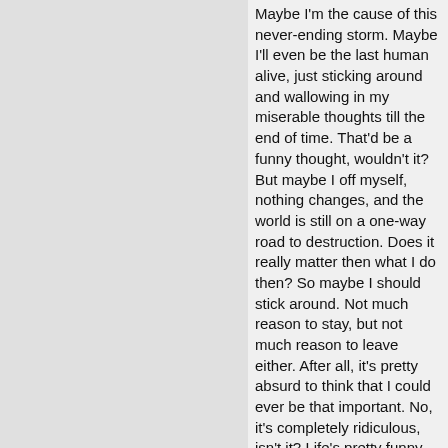Maybe I'm the cause of this never-ending storm. Maybe I'll even be the last human alive, just sticking around and wallowing in my miserable thoughts till the end of time. That'd be a funny thought, wouldn't it? But maybe I off myself, nothing changes, and the world is still on a one-way road to destruction. Does it really matter then what I do then? So maybe I should stick around. Not much reason to stay, but not much reason to leave either. After all, it's pretty absurd to think that I could ever be that important. No, it's completely ridiculous, isn't it? Life's pretty funny that way. Some day, I'll be swept up by the storm and be carried off and probably ripped apart or thrown around or something until I finally die.